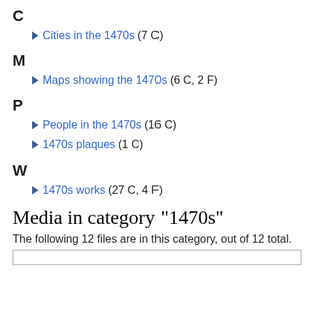C
Cities in the 1470s (7 C)
M
Maps showing the 1470s (6 C, 2 F)
P
People in the 1470s (16 C)
1470s plaques (1 C)
W
1470s works (27 C, 4 F)
Media in category "1470s"
The following 12 files are in this category, out of 12 total.